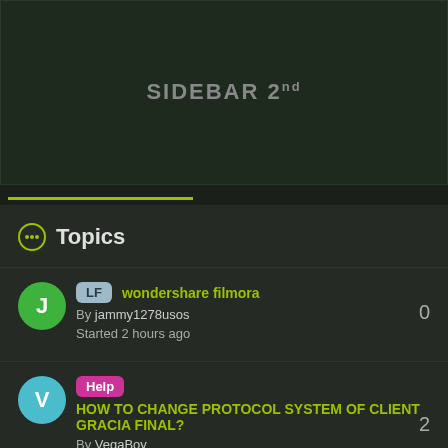[Figure (screenshot): Dark banner area labeled SIDEBAR 2nd]
Topics
wondershare filmora | By jammy1278usos | Started 2 hours ago | 0 replies
HOW TO CHANGE PROTOCOL SYSTEM OF CLIENT GRACIA FINAL? | By VegaBoy | Started 10 hours ago | 2 replies